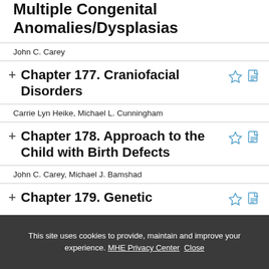Multiple Congenital Anomalies/Dysplasias
John C. Carey
Chapter 177. Craniofacial Disorders
Carrie Lyn Heike, Michael L. Cunningham
Chapter 178. Approach to the Child with Birth Defects
John C. Carey, Michael J. Bamshad
Chapter 179. Genetic
This site uses cookies to provide, maintain and improve your experience. MHE Privacy Center Close